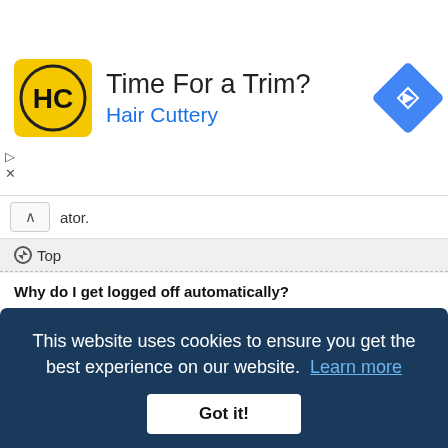[Figure (infographic): Advertisement banner for Hair Cuttery with logo, title 'Time For a Trim?', subtitle 'Hair Cuttery', and a blue navigation diamond icon on the right.]
ator.
Top
Why do I get logged off automatically?
If you do not check the Remember me box when you login, the board will only keep you logged in for a preset time. This prevents misuse of your account by anyone else. To stay logged in, check the Remember me box during login. This is not recommended if you access the board from a shared computer, e.g. library, internet cafe, university computer lab, etc. If you do not see this checkbox, it means a board administrator has disabled this feature.
This website uses cookies to ensure you get the best experience on our website.  Learn more
Got it!
What does the "Delete cookies" do?
"Delete cookies" deletes the cookies created by phpBB which keep you authenticated and logged into the board. Cookies also provide functions such as read tracking if they have been enabled by a board administrator. If you are having login or logout problems, deleting board cookies may help.